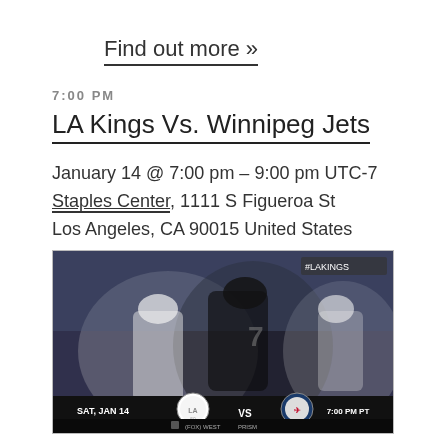Find out more »
7:00 PM
LA Kings Vs. Winnipeg Jets
January 14 @ 7:00 pm – 9:00 pm UTC-7
Staples Center, 1111 S Figueroa St
Los Angeles, CA 90015 United States
[Figure (photo): Promotional NHL game image showing LA Kings vs Winnipeg Jets players on ice, with text overlay: SAT, JAN 14 | LA Kings logo | VS | Winnipeg Jets logo | 7:00 PM PT. Also shows #LAKINGS hashtag and FOX West / PRISM logos at bottom.]
Purchase tickets here. Source: